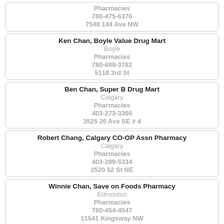Pharmacies
780-475-6376
7548 144 Ave NW
Ken Chan, Boyle Value Drug Mart
Boyle
Pharmacies
780-689-3762
5118 3rd St
Ben Chan, Super B Drug Mart
Calgary
Pharmacies
403-273-3366
3525 26 Ave SE # 4
Robert Chang, Calgary CO-OP Assn Pharmacy
Calgary
Pharmacies
403-299-5334
2520 52 St NE
Winnie Chan, Save on Foods Pharmacy
Edmonton
Pharmacies
780-454-4547
11541 Kingsway NW
Peter Hui, Lemarchand Dispensary